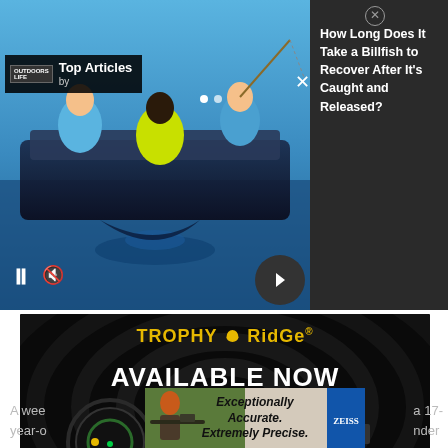[Figure (screenshot): Video player showing fishing/billfish scene with Top Articles overlay widget, pause and mute controls, navigation dots, and close button.]
Top Articles
by
How Long Does It Take a Billfish to Recover After It's Caught and Released?
[Figure (advertisement): Trophy Ridge advertisement showing bow hunting accessories (sights) on black background with text TROPHY RIDGE AVAILABLE NOW in yellow/white lettering.]
[Figure (advertisement): Bottom banner advertisement: Exceptionally Accurate. Extremely Precise. with Zeiss logo and hunter photo.]
A wee
year-o
a 17-
nder